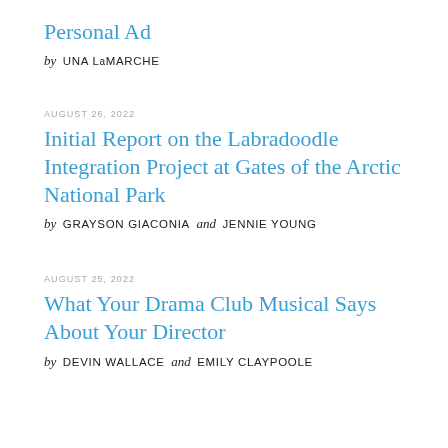Personal Ad
by UNA LaMARCHE
AUGUST 26, 2022
Initial Report on the Labradoodle Integration Project at Gates of the Arctic National Park
by GRAYSON GIACONIA and JENNIE YOUNG
AUGUST 25, 2022
What Your Drama Club Musical Says About Your Director
by DEVIN WALLACE and EMILY CLAYPOOLE